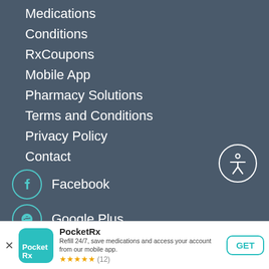Medications
Conditions
RxCoupons
Mobile App
Pharmacy Solutions
Terms and Conditions
Privacy Policy
Contact
Facebook
Google Plus
Twitter
[Figure (infographic): Accessibility icon - person in circle]
PocketRx
Refill 24/7, save medications and access your account from our mobile app.
★★★★★ (12)